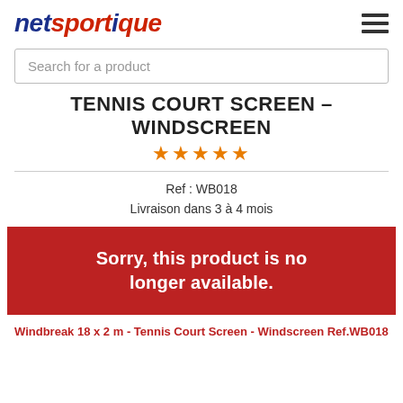netsportique
Search for a product
TENNIS COURT SCREEN - WINDSCREEN
★★★★★
Ref : WB018
Livraison dans 3 à 4 mois
Sorry, this product is no longer available.
Windbreak 18 x 2 m - Tennis Court Screen - Windscreen Ref.WB018